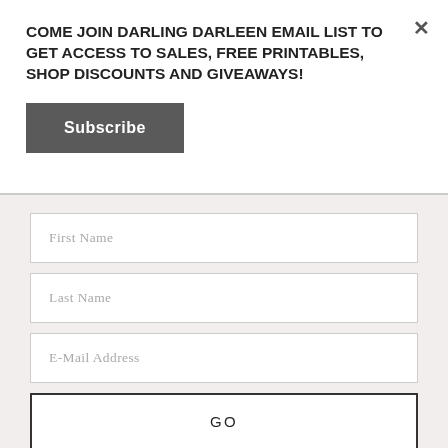COME JOIN DARLING DARLEEN EMAIL LIST TO GET ACCESS TO SALES, FREE PRINTABLES, SHOP DISCOUNTS AND GIVEAWAYS!
Subscribe
First Name
Last Name
E-Mail Address
GO
Stay in the loop on all things Darling! Be the